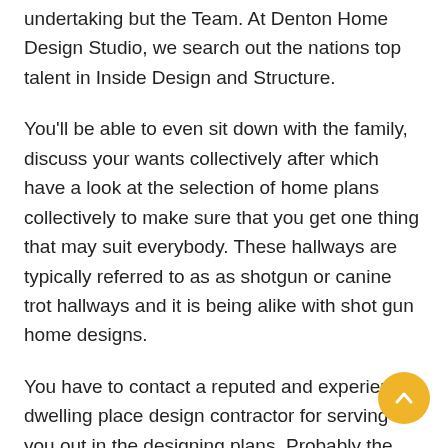undertaking but the Team. At Denton Home Design Studio, we search out the nations top talent in Inside Design and Structure.
You'll be able to even sit down with the family, discuss your wants collectively after which have a look at the selection of home plans collectively to make sure that you get one thing that may suit everybody. These hallways are typically referred to as as shotgun or canine trot hallways and it is being alike with shot gun home designs.
You have to contact a reputed and experienced dwelling place design contractor for serving to you out in the designing plans. Probably the most profitable plans are these which create a wonderful looking house, with the required rooms, and just that little bit over for the words to fill the plot.